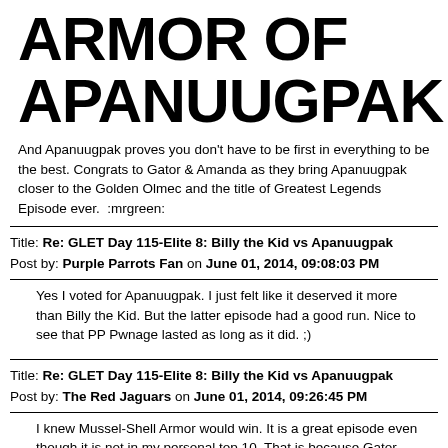ARMOR OF APANUUGPAK
And Apanuugpak proves you don't have to be first in everything to be the best. Congrats to Gator & Amanda as they bring Apanuugpak closer to the Golden Olmec and the title of Greatest Legends Episode ever.  :mrgreen:
Title: Re: GLET Day 115-Elite 8: Billy the Kid vs Apanuugpak
Post by: Purple Parrots Fan on June 01, 2014, 09:08:03 PM
Yes I voted for Apanuugpak. I just felt like it deserved it more than Billy the Kid. But the latter episode had a good run. Nice to see that PP Pwnage lasted as long as it did. ;)
Title: Re: GLET Day 115-Elite 8: Billy the Kid vs Apanuugpak
Post by: The Red Jaguars on June 01, 2014, 09:26:45 PM
I knew Mussel-Shell Armor would win. It is a great episode even though it is not in my personal top 10. That is because Gator owned everything. I still love this episode though and it did get the best ranking in my Legends Episode Ranking Element. And I can tell it's going to win it.